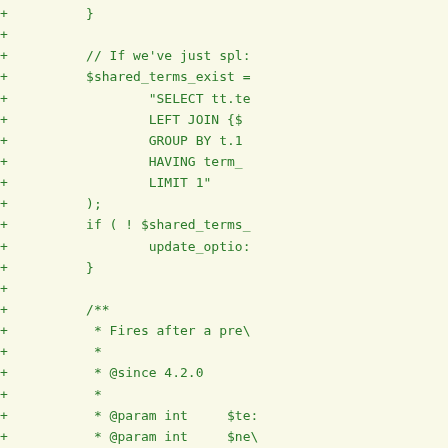[Figure (screenshot): Code diff view showing PHP code additions (lines prefixed with +) in green monospace font on a light yellow background. The code shows SQL queries, conditional logic, PHPDoc comments, and function calls related to splitting shared taxonomy terms.]